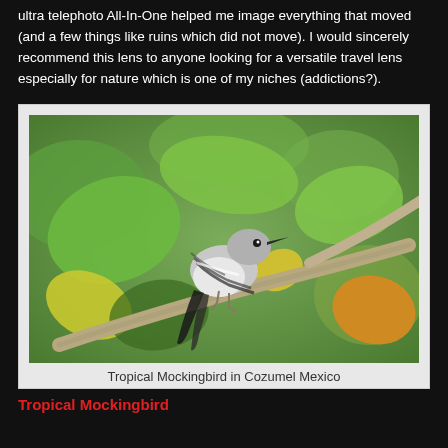ultra telephoto All-In-One helped me image everything that moved (and a few things like ruins which did not move). I would sincerely recommend this lens to anyone looking for a versatile travel lens especially for nature which is one of my niches (addictions?).
[Figure (photo): A Tropical Mockingbird perched on a tree branch surrounded by green and yellow-orange leaves in Cozumel Mexico.]
Tropical Mockingbird in Cozumel Mexico
Tropical Mockingbird